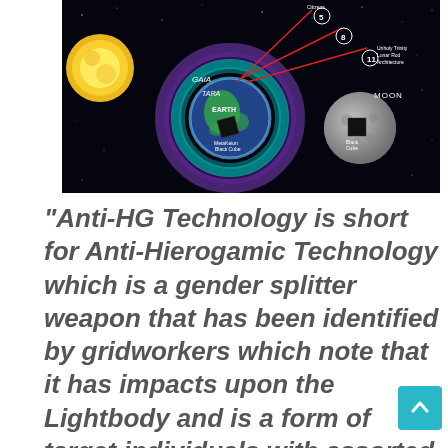[Figure (illustration): Space diagram showing Earth with colored aura rings (GAIA, TARA, EARTH labels), Sun, Moon with Black Cube label, connected by red lines to numbered nodes (5, 8, 11) and 'Unholy Trinity Lunar Rod Architecture' label on black starfield background.]
“Anti-HG Technology is short for Anti-Hierogamic Technology which is a gender splitter weapon that has been identified by gridworkers which note that it has impacts upon the Lightbody and is a form of target individuals with assorted Electronic harassment designed for Mind